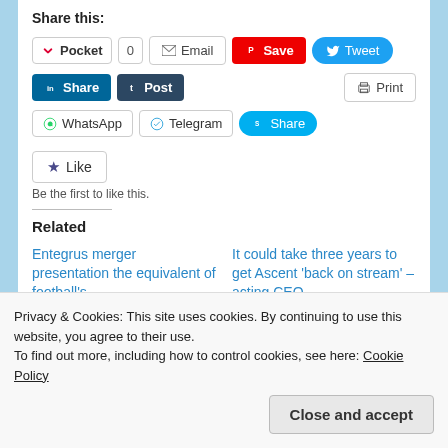Share this:
[Figure (screenshot): Social sharing buttons row 1: Pocket (0), Email, Save (Pinterest), Tweet]
[Figure (screenshot): Social sharing buttons row 2: LinkedIn Share, Tumblr Post, Print]
[Figure (screenshot): Social sharing buttons row 3: WhatsApp, Telegram, Skype Share]
[Figure (screenshot): Like button with star icon]
Be the first to like this.
Related
Entegrus merger presentation the equivalent of football's
It could take three years to get Ascent ‘back on stream’ – acting CEO
Privacy & Cookies: This site uses cookies. By continuing to use this website, you agree to their use.
To find out more, including how to control cookies, see here: Cookie Policy
Are advance polling